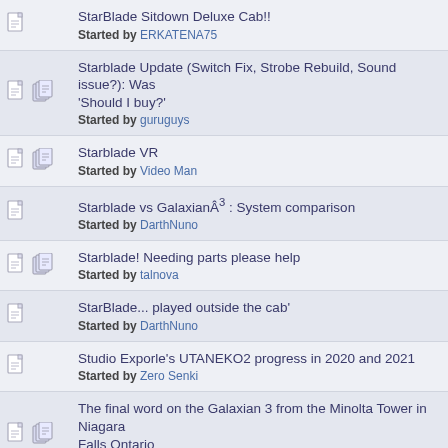StarBlade Sitdown Deluxe Cab!! Started by ERKATENA75
Starblade Update (Switch Fix, Strobe Rebuild, Sound issue?): Was 'Should I buy?' Started by guruguys
Starblade VR Started by Video Man
Starblade vs Galaxian³ : System comparison Started by DarthNuno
Starblade! Needing parts please help Started by talnova
StarBlade... played outside the cab' Started by DarthNuno
Studio Exporle's UTANEKO2 progress in 2020 and 2021 Started by Zero Senki
The final word on the Galaxian 3 from the Minolta Tower in Niagara Falls Ontario Started by SaraAB87
The hunt for Flashboy (In Tokyo) Started by Equites « 1 2 »